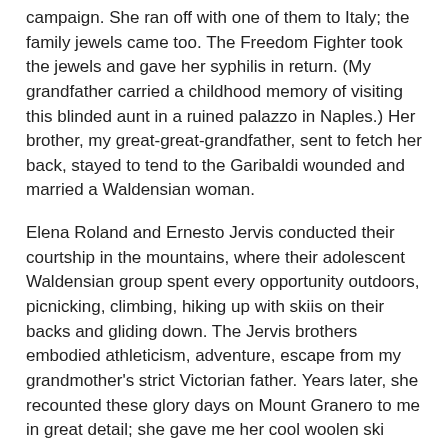campaign. She ran off with one of them to Italy; the family jewels came too. The Freedom Fighter took the jewels and gave her syphilis in return. (My grandfather carried a childhood memory of visiting this blinded aunt in a ruined palazzo in Naples.) Her brother, my great-great-grandfather, sent to fetch her back, stayed to tend to the Garibaldi wounded and married a Waldensian woman.
Elena Roland and Ernesto Jervis conducted their courtship in the mountains, where their adolescent Waldensian group spent every opportunity outdoors, picnicking, climbing, hiking up with skiis on their backs and gliding down. The Jervis brothers embodied athleticism, adventure, escape from my grandmother's strict Victorian father. Years later, she recounted these glory days on Mount Granero to me in great detail; she gave me her cool woolen ski pants which I wore to shreds in my twenties.
When Mussolini declared Catholicism the official state religion and membership in the Fascist party was required for my grandfather to work as an engineer, they immigrated to the United States. I never heard Nonna express any yearning for the country of her birth – only